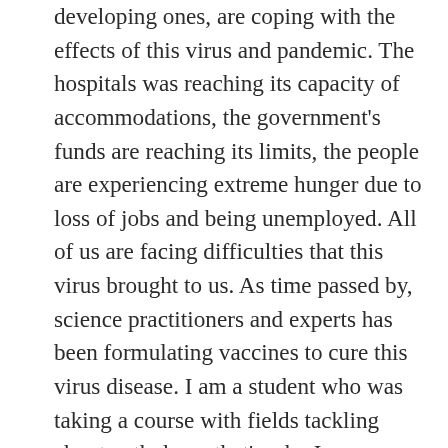developing ones, are coping with the effects of this virus and pandemic. The hospitals was reaching its capacity of accommodations, the government's funds are reaching its limits, the people are experiencing extreme hunger due to loss of jobs and being unemployed. All of us are facing difficulties that this virus brought to us. As time passed by, science practitioners and experts has been formulating vaccines to cure this virus disease. I am a student who was taking a course with fields tackling about pathology, that's why I understand that formulating a vaccine for a virus disease is way too difficult from creating a vaccine for diseases caused by bacteria and other microorganisms because there are many aspects needed to think of. Just like the changes of variants or strand which was detected to exists even before the year 2020 ends. Aside from the virus circulating until now, we also had faced difficulties due to natural disasters like